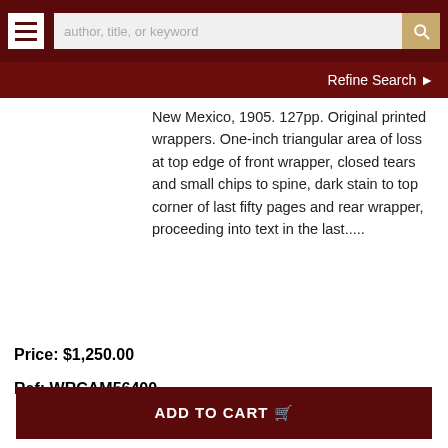author, title, or keyword | Refine Search
New Mexico, 1905. 127pp. Original printed wrappers. One-inch triangular area of loss at top edge of front wrapper, closed tears and small chips to spine, dark stain to top corner of last fifty pages and rear wrapper, proceeding into text in the last.....
Price: $1,250.00
Ref: WRCAM56400
ADD TO CART
Details
Ask a Question
With Extraordinary Photogravures of